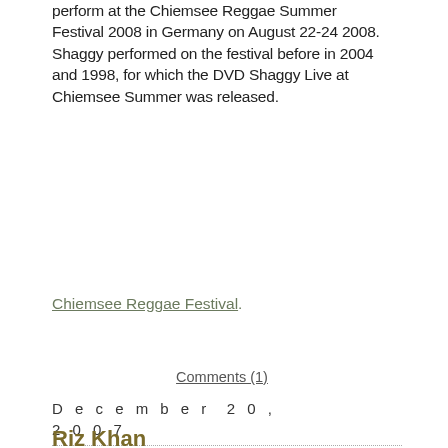perform at the Chiemsee Reggae Summer Festival 2008 in Germany on August 22-24 2008. Shaggy performed on the festival before in 2004 and 1998, for which the DVD Shaggy Live at Chiemsee Summer was released.
Chiemsee Reggae Festival.
Comments (1)
December 20, 2007
Riz Khan